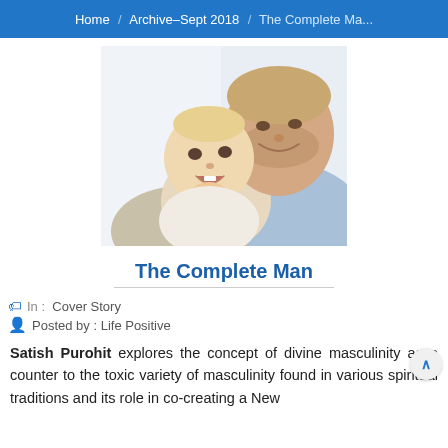Home / Archive–Sept 2018 / The Complete Ma...
[Figure (photo): A smiling man holding a happy baby, both looking at the camera against a light background.]
The Complete Man
In :  Cover Story
Posted by : Life Positive
Satish Purohit explores the concept of divine masculinity as a counter to the toxic variety of masculinity found in various spiritual traditions and its role in co-creating a New